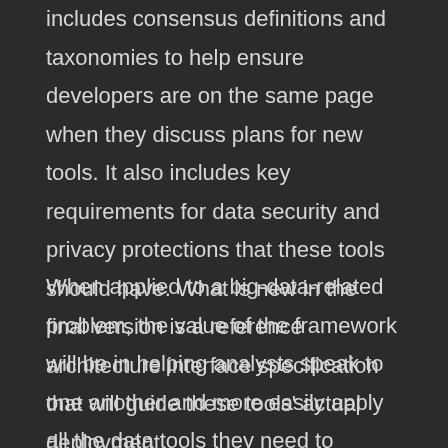includes consensus definitions and taxonomies to help ensure developers are on the same page when they discuss plans for new tools. It also includes key requirements for data security and privacy protections that these tools should have. What is new in the final version is a reference architecture interface specification that will guide these tools' actual deployment.
When applied to a big-data-related problem, the value of the framework will be in helping analysts speak to one another and more easily apply all the data tools they need to achieve their goals.